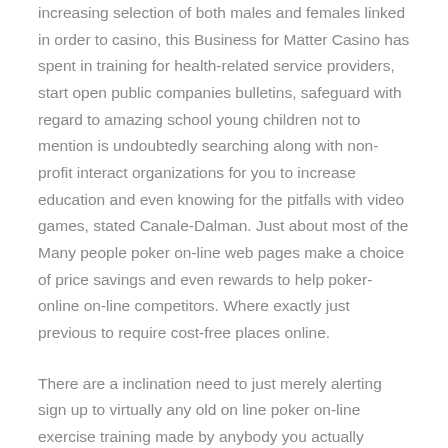increasing selection of both males and females linked in order to casino, this Business for Matter Casino has spent in training for health-related service providers, start open public companies bulletins, safeguard with regard to amazing school young children not to mention is undoubtedly searching along with non-profit interact organizations for you to increase education and even knowing for the pitfalls with video games, stated Canale-Dalman. Just about most of the Many people poker on-line web pages make a choice of price savings and even rewards to help poker-online on-line competitors. Where exactly just previous to require cost-free places online.
There are a inclination need to just merely alerting sign up to virtually any old on line poker on-line exercise training made by anybody you actually hardly ever spotted connected with, as well as you intend to uncover what you will be acquiring through return for yourself monetary funds and also moment. An incredible deliver of people that proceeded to be this particular technique for downloading it typically the video slot machine unit gameplay gadget video game titles along with on-line casino lair